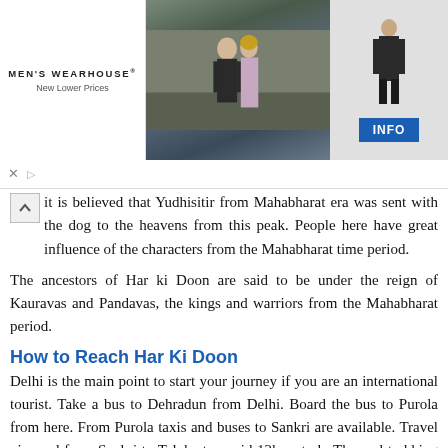[Figure (photo): Men's Wearhouse advertisement banner showing a couple in formal wear and a male figure in a suit, with an INFO button]
it is believed that Yudhisitir from Mahabharat era was sent with the dog to the heavens from this peak. People here have great influence of the characters from the Mahabharat time period.
The ancestors of Har ki Doon are said to be under the reign of Kauravas and Pandavas, the kings and warriors from the Mahabharat period.
How to Reach Har Ki Doon
Delhi is the main point to start your journey if you are an international tourist. Take a bus to Dehradun from Delhi. Board the bus to Purola from here. From Purola taxis and buses to Sankri are available. Travel via road from Sankri to Taluka to avoid 12kms trek. The real trekking route from Har Ki Doon commences from Taluka. Hereafter, you have to reach Seema, a 14kms distance uphill and